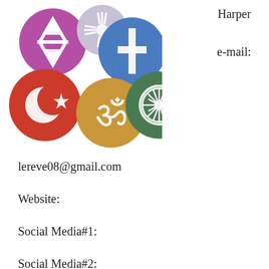[Figure (illustration): Cluster of six colored circles each containing a religious symbol: purple circle with Star of David, gray/light circle with Zia sun symbol, blue circle with Christian cross, red circle with crescent moon and star (Islam), olive/dark yellow circle with Om symbol (Hinduism), green circle with Dharma wheel (Buddhism).]
Harper
e-mail:
leve08@gmail.com
Website:
Social Media#1:
Social Media#2:
Bio: